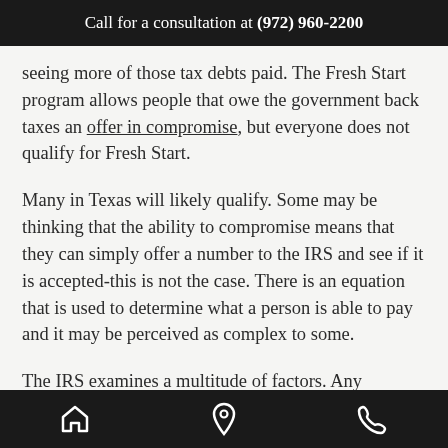Call for a consultation at (972) 960-2200
seeing more of those tax debts paid. The Fresh Start program allows people that owe the government back taxes an offer in compromise, but everyone does not qualify for Fresh Start.
Many in Texas will likely qualify. Some may be thinking that the ability to compromise means that they can simply offer a number to the IRS and see if it is accepted-this is not the case. There is an equation that is used to determine what a person is able to pay and it may be perceived as complex to some.
The IRS examines a multitude of factors. Any
home icon, location icon, phone icon